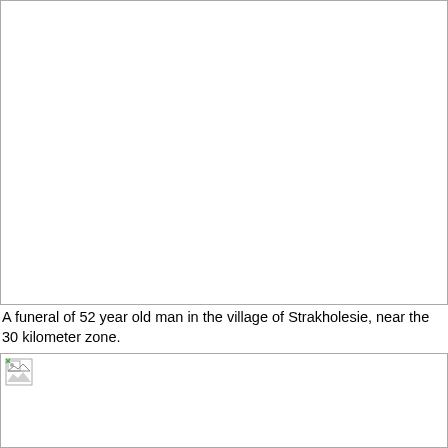[Figure (photo): A large photograph (content not loaded/visible) taking up the top portion of the page.]
A funeral of 52 year old man in the village of Strakholesie, near the 30 kilometer zone.
[Figure (photo): A second photograph (content not loaded/visible) at the bottom of the page, showing a broken image icon.]